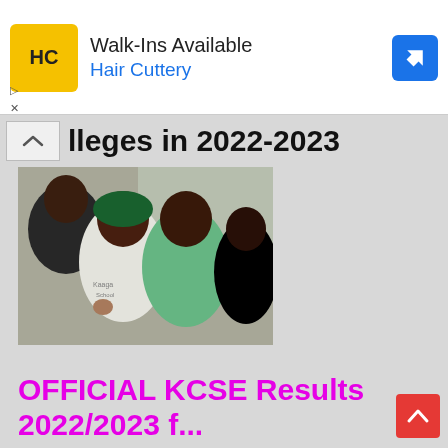[Figure (other): Advertisement banner for Hair Cuttery showing yellow HC logo, text 'Walk-Ins Available', 'Hair Cuttery' in blue, and a blue diamond-shaped navigation icon on the right]
lleges in 2022-2023
[Figure (photo): Photo of three young women/girls smiling and celebrating, wearing green school uniforms, one with a green headscarf, with text 'Kaaga School' visible on a white shirt]
OFFICIAL KCSE Results 2022/2023 for Kaaga Gi...